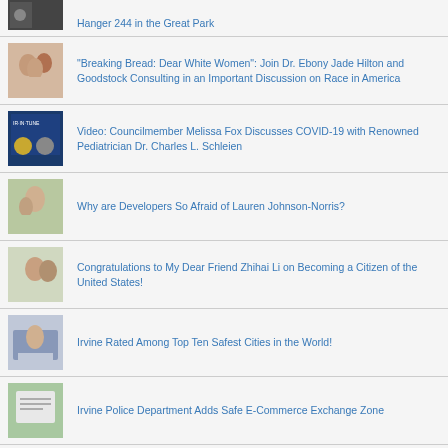Hanger 244 in the Great Park
"Breaking Bread: Dear White Women": Join Dr. Ebony Jade Hilton and Goodstock Consulting in an Important Discussion on Race in America
Video: Councilmember Melissa Fox Discusses COVID-19 with Renowned Pediatrician Dr. Charles L. Schleien
Why are Developers So Afraid of Lauren Johnson-Norris?
Congratulations to My Dear Friend Zhihai Li on Becoming a Citizen of the United States!
Irvine Rated Among Top Ten Safest Cities in the World!
Irvine Police Department Adds Safe E-Commerce Exchange Zone
Bicycling in Irvine -- Great Trail System, But Where to Lock-Up?